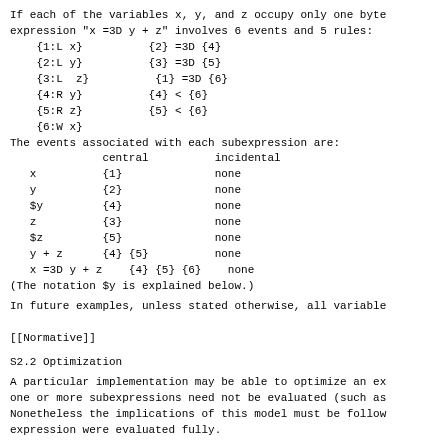If each of the variables x, y, and z occupy only one byte
expression "x =3D y + z" involves 6 events and 5 rules:
    {1:L x}          {2} =3D {4}
    {2:L y}          {3} =3D {5}
    {3:L  z}          {1} =3D {6}
    {4:R y}          {4} < {6}
    {5:R z}          {5} < {6}
    {6:W x}
The events associated with each subexpression are:
              central          incidental
   x          {1}              none
   y          {2}              none
   $y         {4}              none
   z          {3}              none
   $z         {5}              none
   y + z      {4} {5}          none
   x =3D y + z    {4} {5} {6}    none
(The notation $y is explained below.)
In future examples, unless stated otherwise, all variable
[[Normative]]
S2.2  Optimization
A particular implementation may be able to optimize an ex
one or more subexpressions need not be evaluated (such as
Nonetheless the implications of this model must be follow
expression were evaluated fully.